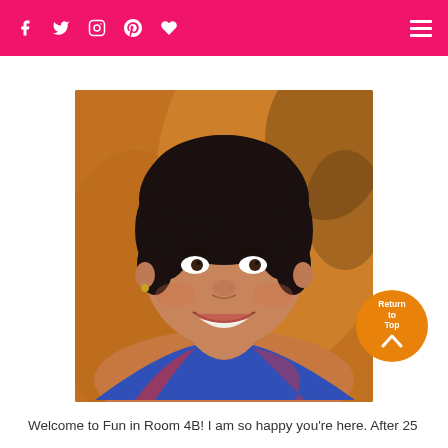Navigation bar with social icons: Facebook, Twitter, Instagram, Pinterest, Heart/Bloglovin, and hamburger menu
[Figure (photo): Portrait photo of a woman with short dark hair, smiling, wearing a colorful top, with a warm orange/brown background]
[Figure (illustration): Return to Top button - circular orange badge with text 'Return to Top' and an upward arrow]
Welcome to Fun in Room 4B! I am so happy you're here. After 25